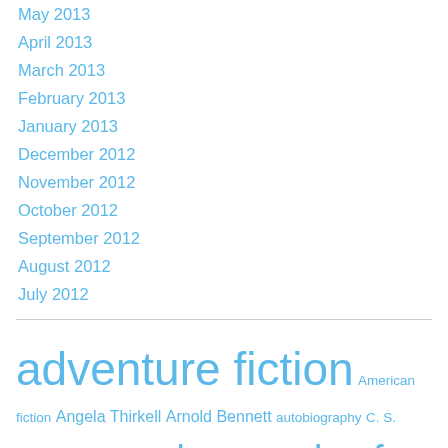May 2013
April 2013
March 2013
February 2013
January 2013
December 2012
November 2012
October 2012
September 2012
August 2012
July 2012
adventure fiction  American fiction  Angela Thirkell  Arnold Bennett  autobiography  C. S. Forester  comedy  comedy of manners  comic fiction  comic novels  Compton Mackenzie  countryside  detective fiction  detective novel  detective story  domestic fiction  Elizabeth von Arnim  Ethel M. Dell